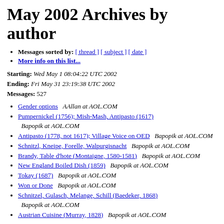May 2002 Archives by author
Messages sorted by: [ thread ] [ subject ] [ date ]
More info on this list...
Starting: Wed May 1 08:04:22 UTC 2002
Ending: Fri May 31 23:19:38 UTC 2002
Messages: 527
Gender options   AAllan at AOL.COM
Pumpernickel (1756); Mish-Mash, Antipasto (1617)   Bapopik at AOL.COM
Antipasto (1778, not 1617); Village Voice on OED   Bapopik at AOL.COM
Schnitzl, Kneipe, Forelle, Walpurgisnacht   Bapopik at AOL.COM
Brandy, Table d'hote (Montaigne, 1580-1581)   Bapopik at AOL.COM
New England Boiled Dish (1859)   Bapopik at AOL.COM
Tokay (1687)   Bapopik at AOL.COM
Won or Done   Bapopik at AOL.COM
Schnitzel, Gulasch, Melange, Schill (Baedeker, 1868)   Bapopik at AOL.COM
Austrian Cuisine (Murray, 1828)   Bapopik at AOL.COM